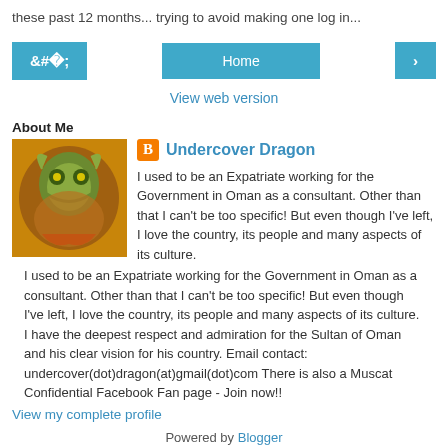these past 12 months... trying to avoid making one log in...
[Figure (other): Navigation bar with left arrow button, Home button, and right arrow button in teal/blue color]
View web version
About Me
[Figure (photo): Profile photo of a dragon illustration with golden/green tones]
Undercover Dragon
I used to be an Expatriate working for the Government in Oman as a consultant. Other than that I can't be too specific! But even though I've left, I love the country, its people and many aspects of its culture. I have the deepest respect and admiration for the Sultan of Oman and his clear vision for his country. Email contact: undercover(dot)dragon(at)gmail(dot)com There is also a Muscat Confidential Facebook Fan page - Join now!!
View my complete profile
Powered by Blogger